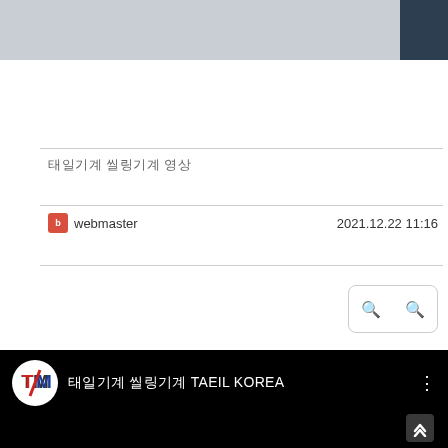[Figure (screenshot): Top gray navigation banner with dark corner element]
태일기계 씰링기계 영상
webmaster   2021.12.22 11:16
[Figure (screenshot): YouTube embedded video player showing 태일기계 씰링기계 TAEIL KOREA channel with TM logo on black background]